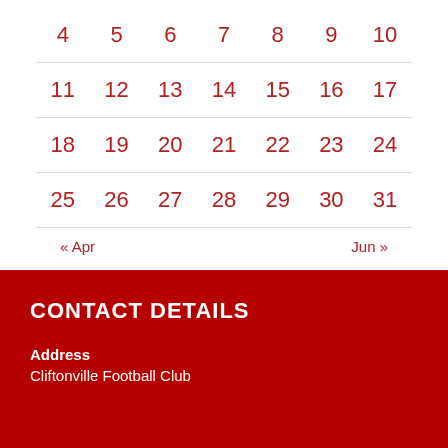| 4 | 5 | 6 | 7 | 8 | 9 | 10 |
| 11 | 12 | 13 | 14 | 15 | 16 | 17 |
| 18 | 19 | 20 | 21 | 22 | 23 | 24 |
| 25 | 26 | 27 | 28 | 29 | 30 | 31 |
« Apr    Jun »
CONTACT DETAILS
Address
Cliftonville Football Club